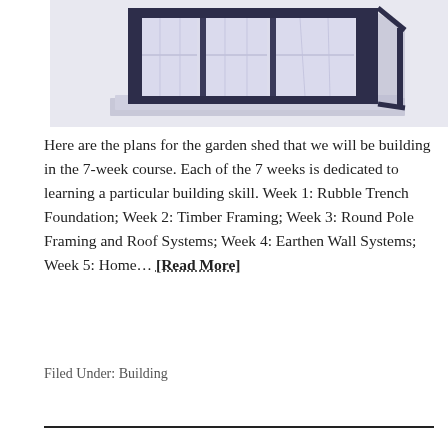[Figure (illustration): Architectural sketch/illustration of a garden shed with dark frame, glass panels and a flat/shallow roof, shown in perspective view against a light grey-white background.]
Here are the plans for the garden shed that we will be building in the 7-week course. Each of the 7 weeks is dedicated to learning a particular building skill. Week 1: Rubble Trench Foundation; Week 2: Timber Framing; Week 3: Round Pole Framing and Roof Systems; Week 4: Earthen Wall Systems; Week 5: Home… [Read More]
Filed Under: Building